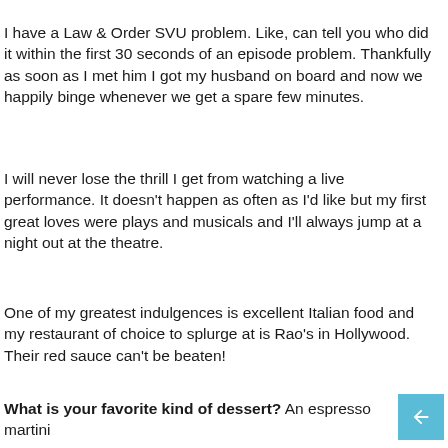I have a Law & Order SVU problem. Like, can tell you who did it within the first 30 seconds of an episode problem. Thankfully as soon as I met him I got my husband on board and now we happily binge whenever we get a spare few minutes.
I will never lose the thrill I get from watching a live performance. It doesn't happen as often as I'd like but my first great loves were plays and musicals and I'll always jump at a night out at the theatre.
One of my greatest indulgences is excellent Italian food and my restaurant of choice to splurge at is Rao's in Hollywood. Their red sauce can't be beaten!
What is your favorite kind of dessert? An espresso martini